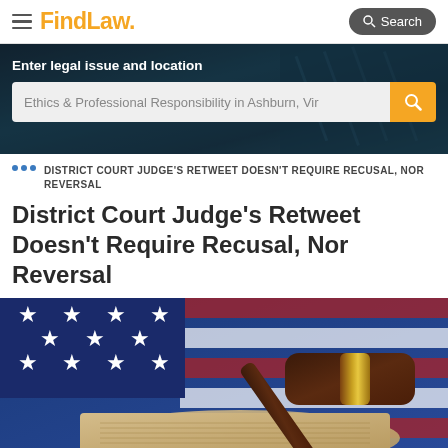FindLaw — Search
[Figure (screenshot): Hero search banner with dark blue background. Label: 'Enter legal issue and location'. Search input showing: 'Ethics & Professional Responsibility in Ashburn, Vir' with orange search button.]
DISTRICT COURT JUDGE'S RETWEET DOESN'T REQUIRE RECUSAL, NOR REVERSAL
District Court Judge's Retweet Doesn't Require Recusal, Nor Reversal
[Figure (photo): Photo of an American flag with stars visible and a wooden judge's gavel resting on a rolled document, partially visible at the bottom of the page.]